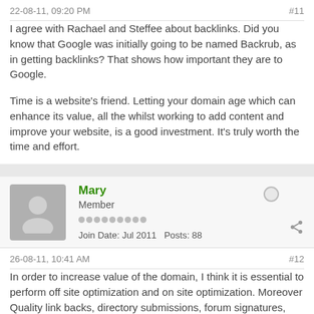22-08-11, 09:20 PM    #11
I agree with Rachael and Steffee about backlinks. Did you know that Google was initially going to be named Backrub, as in getting backlinks? That shows how important they are to Google.
Time is a website's friend. Letting your domain age which can enhance its value, all the whilst working to add content and improve your website, is a good investment. It's truly worth the time and effort.
Mary
Member
Join Date: Jul 2011   Posts: 88
26-08-11, 10:41 AM    #12
In order to increase value of the domain, I think it is essential to perform off site optimization and on site optimization. Moreover Quality link backs, directory submissions, forum signatures, blog postings and adding high quality content are very efficient ways to increase the